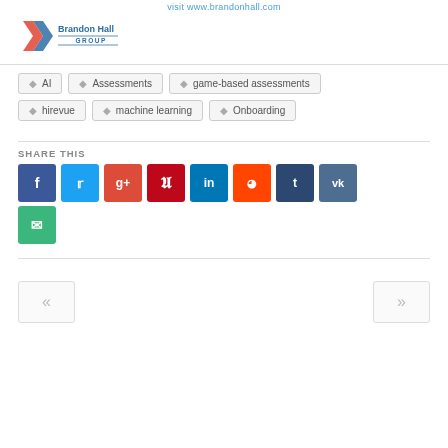visit www.brandonhall.com
[Figure (logo): Brandon Hall Group logo with stylized X mark]
AI
Assessments
game-based assessments
hirevue
machine learning
Onboarding
SHARE THIS
[Figure (infographic): Social sharing buttons: Facebook, Twitter, Google+, Pinterest, LinkedIn, Reddit, Tumblr, VK, Email]
[Figure (infographic): Navigation arrows: previous (<<) and next (>>)]